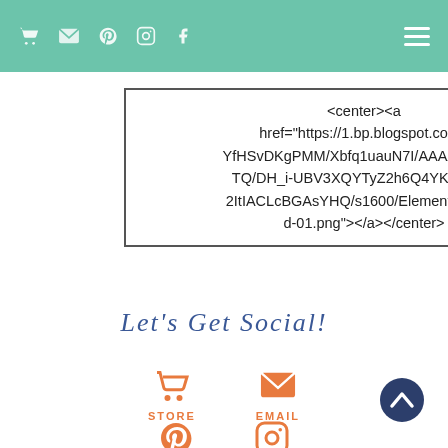Navigation bar with icons: cart, email, pinterest, instagram, facebook, and hamburger menu
<center><a href="https://1.bp.blogspot.com/-YfHSvDKgPMM/Xbfq1uauN7I/AAAAAAAAPTQ/DH_i-UBV3XQYTyZ2h6Q4YKow03g-2ItIACLcBGAsYHQ/s1600/ElementaryIsland-01.png"></a></center>
LET'S GET SOCIAL!
[Figure (infographic): STORE icon (shopping cart) in orange with label STORE]
[Figure (infographic): EMAIL icon (envelope) in orange with label EMAIL]
[Figure (infographic): Pinterest icon in orange]
[Figure (infographic): Instagram icon in orange]
[Figure (infographic): Up/back-to-top chevron arrow in dark navy]